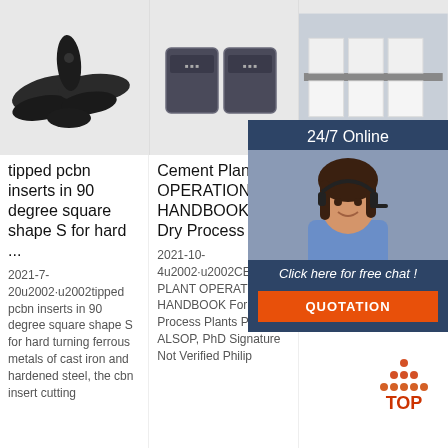[Figure (photo): Three dark plastic/metal shoe inserts or cleat components on white background]
[Figure (photo): Two dark gray rectangular battery or sensor modules side by side]
[Figure (photo): White industrial ceramic or foam blocks on shelving]
tipped pcbn inserts in 90 degree square shape S for hard ...
Cement Plant OPERATIONS HANDBOOK For Dry Process ...
Mater... Hand...
2021-7-20u2002·u2002tipped pcbn inserts in 90 degree square shape S for hard turning ferrous metals of cast iron and hardened steel, the cbn insert cutting
2021-10-4u2002·u2002CEMENT PLANT OPERATIONS HANDBOOK For Dry Process Plants PHILIP A ALSOP, PhD Signature Not Verified Philip
2021-9-29u2002... NiBAl a the cas cold-w 50 and the castable and weldable IC-221M. By weight, nickel aluminide IC-50 contains
[Figure (photo): 24/7 online chat widget with woman wearing headset, blue/navy background, orange QUOTATION button]
[Figure (logo): TOP logo in orange/red dots arranged as triangle with text TOP]